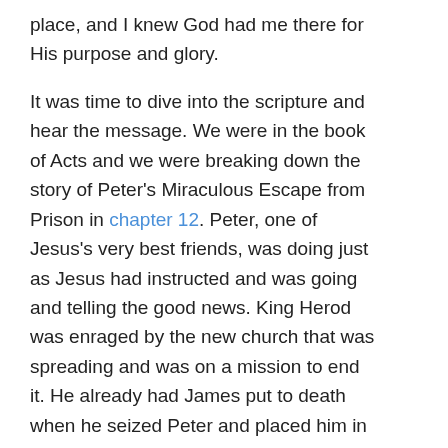place, and I knew God had me there for His purpose and glory.
It was time to dive into the scripture and hear the message. We were in the book of Acts and we were breaking down the story of Peter's Miraculous Escape from Prison in chapter 12. Peter, one of Jesus's very best friends, was doing just as Jesus had instructed and was going and telling the good news. King Herod was enraged by the new church that was spreading and was on a mission to end it. He already had James put to death when he seized Peter and placed him in prison. I want you to picture Peter. He was placed in shackles and there were four squads of four soldiers each surrounding him. This means there were 16 guards surrounding him while he was chained up. There was no way out.